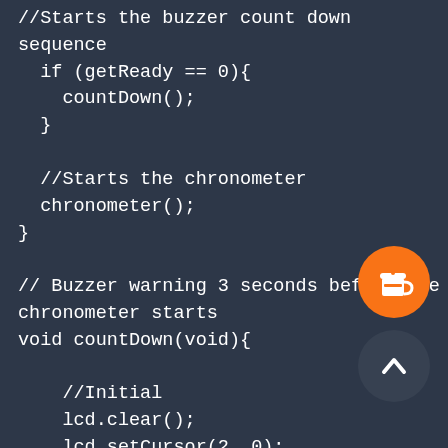//Starts the buzzer count down sequence
  if (getReady == 0){
    countDown();
  }

  //Starts the chronometer
  chronometer();
}

// Buzzer warning 3 seconds before the chronometer starts
void countDown(void){

    //Initial
    lcd.clear();
    lcd.setCursor(2, 0);
    lcd.print("STARTING IN");
[Figure (illustration): Orange circular button with a coffee cup icon (buy me a coffee style)]
[Figure (illustration): Dark circular button with an upward chevron/arrow icon]